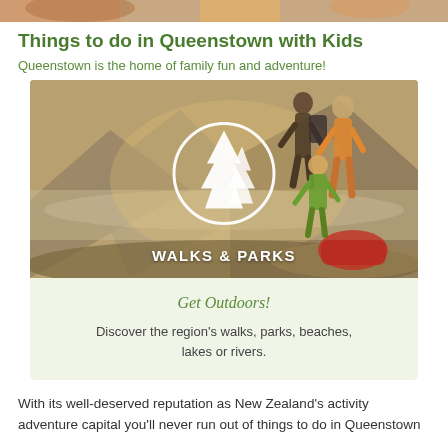[Figure (photo): Partial image at top of page showing people, cropped]
Things to do in Queenstown with Kids
Queenstown is the home of family fun and adventure!
[Figure (photo): Photo of a family with children on a hillside with mountain lake backdrop, overlaid with a white circle containing a pine tree icon and text WALKS & PARKS, with a light green caption box below reading 'Get Outdoors! Discover the region's walks, parks, beaches, lakes or rivers.']
With its well-deserved reputation as New Zealand's activity adventure capital you'll never run out of things to do in Queenstown